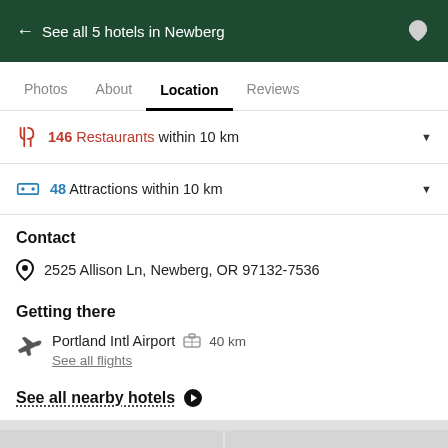← See all 5 hotels in Newberg
Photos  About  Location  Reviews
146 Restaurants within 10 km
48 Attractions within 10 km
Contact
2525 Allison Ln, Newberg, OR 97132-7536
Getting there
Portland Intl Airport  40 km
See all flights
See all nearby hotels